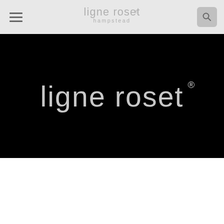[Figure (logo): Ligne Roset Hampstead logo in grey on light grey header background]
[Figure (logo): Large Ligne Roset logo in grey on black background hero banner]